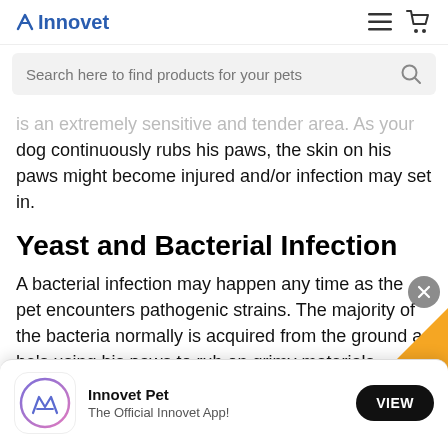Innovet
[Figure (screenshot): Search bar with placeholder text 'Search here to find products for your pets' and a search icon on the right]
is an extremely sensitive and tender area. As your dog continuously rubs his paws, the skin on his paws might become injured and/or infection may set in.
Yeast and Bacterial Infection
A bacterial infection may happen any time as the pet encounters pathogenic strains. The majority of the bacteria normally is acquired from the ground as he's using his paws to rub on grimy materials.
[Figure (screenshot): App install banner showing Innovet Pet app icon (blue circle with A), name 'Innovet Pet', subtitle 'The Official Innovet App!', and a VIEW button]